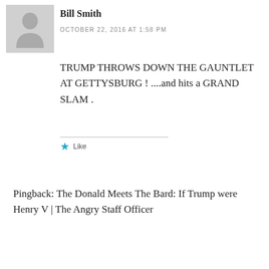[Figure (illustration): Gray avatar placeholder icon of a person silhouette]
Bill Smith
OCTOBER 22, 2016 AT 1:58 PM
TRUMP THROWS DOWN THE GAUNTLET AT GETTYSBURG ! ....and hits a GRAND SLAM .
Like
Pingback: The Donald Meets The Bard: If Trump were Henry V | The Angry Staff Officer